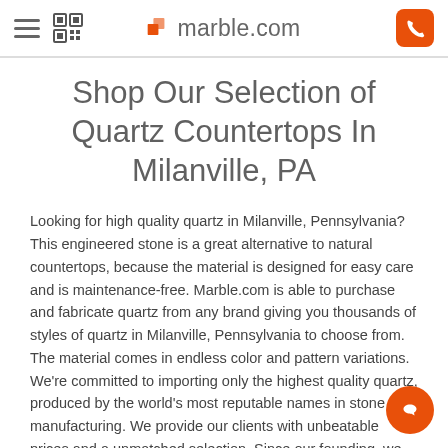marble.com
Shop Our Selection of Quartz Countertops In Milanville, PA
Looking for high quality quartz in Milanville, Pennsylvania? This engineered stone is a great alternative to natural countertops, because the material is designed for easy care and is maintenance-free. Marble.com is able to purchase and fabricate quartz from any brand giving you thousands of styles of quartz in Milanville, Pennsylvania to choose from. The material comes in endless color and pattern variations. We're committed to importing only the highest quality quartz, produced by the world's most reputable names in stone manufacturing. We provide our clients with unbeatable prices and a unmatched selection. Since our founding, we have been leaders in stone